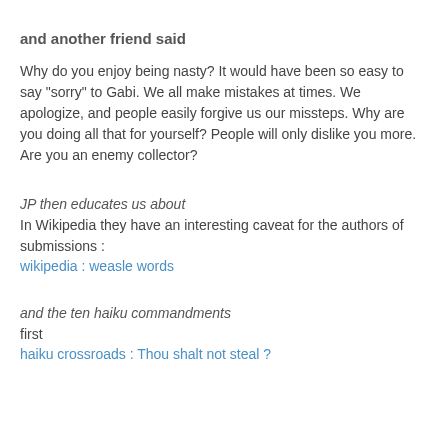and another friend said
Why do you enjoy being nasty? It would have been so easy to say "sorry" to Gabi. We all make mistakes at times. We apologize, and people easily forgive us our missteps. Why are you doing all that for yourself? People will only dislike you more. Are you an enemy collector?
JP then educates us about
In Wikipedia they have an interesting caveat for the authors of submissions :
wikipedia : weasle words
and the ten haiku commandments
first
haiku crossroads : Thou shalt not steal ?